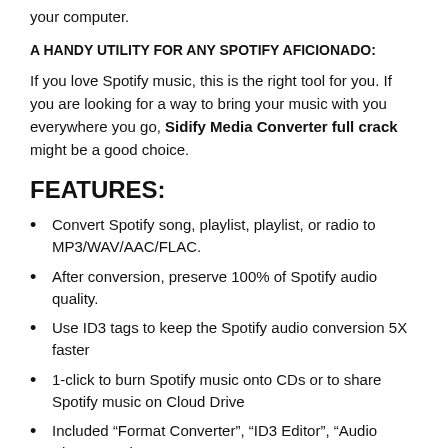your computer.
A HANDY UTILITY FOR ANY SPOTIFY AFICIONADO:
If you love Spotify music, this is the right tool for you. If you are looking for a way to bring your music with you everywhere you go, Sidify Media Converter full crack might be a good choice.
FEATURES:
Convert Spotify song, playlist, playlist, or radio to MP3/WAV/AAC/FLAC.
After conversion, preserve 100% of Spotify audio quality.
Use ID3 tags to keep the Spotify audio conversion 5X faster
1-click to burn Spotify music onto CDs or to share Spotify music on Cloud Drive
Included “Format Converter”, “ID3 Editor”, “Audio Player”, and “Format Converter”.
It is also compatible with Spotify and Windows 10